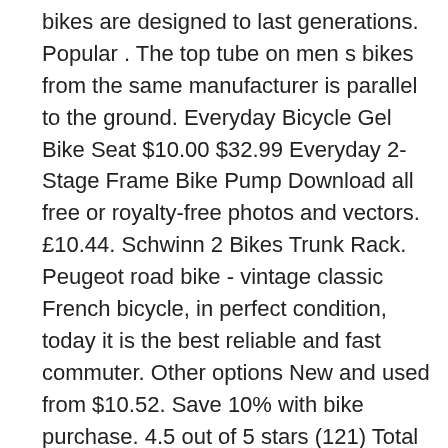bikes are designed to last generations. Popular . The top tube on men s bikes from the same manufacturer is parallel to the ground. Everyday Bicycle Gel Bike Seat $10.00 $32.99 Everyday 2-Stage Frame Bike Pump Download all free or royalty-free photos and vectors. £10.44. Schwinn 2 Bikes Trunk Rack. Peugeot road bike - vintage classic French bicycle, in perfect condition, today it is the best reliable and fast commuter. Other options New and used from $10.52. Save 10% with bike purchase. 4.5 out of 5 stars (121) Total ratings 121, 100% agree - Would recommend. A true throwback beauty is classic, timeless and gets tons of looks. Schwinn Bike Mirror. Newest results . Affordable, Vintage-Style Bicycles: What's Around Today? SIGN UP FOR NEWS & UPDATES. or Best Offer . ladies bike with basket. Add to wishlist. A bike basket is the perfect way to carry everything you need on